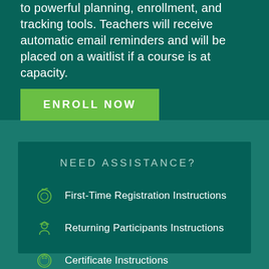to powerful planning, enrollment, and tracking tools. Teachers will receive automatic email reminders and will be placed on a waitlist if a course is at capacity.
ENROLL NOW
NEED ASSISTANCE?
First-Time Registration Instructions
Returning Participants Instructions
Certificate Instructions
Payment Instructions